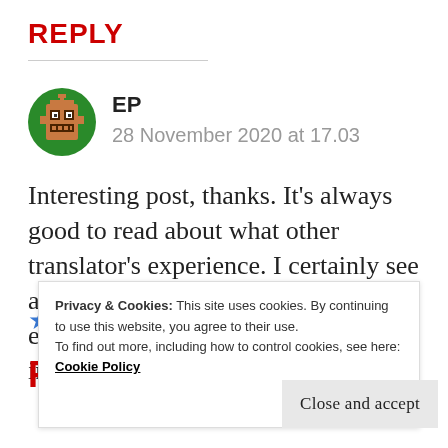REPLY
[Figure (illustration): Pixel art avatar icon: green circle background with an orange/brown robot-like face pixel character]
EP
28 November 2020 at 17.03
Interesting post, thanks. It's always good to read about what other translator's experience. I certainly see a lot of similarities here in the experiences I've had. Very informative. Keep up the good w
Privacy & Cookies: This site uses cookies. By continuing to use this website, you agree to their use.
To find out more, including how to control cookies, see here:
Cookie Policy
Close and accept